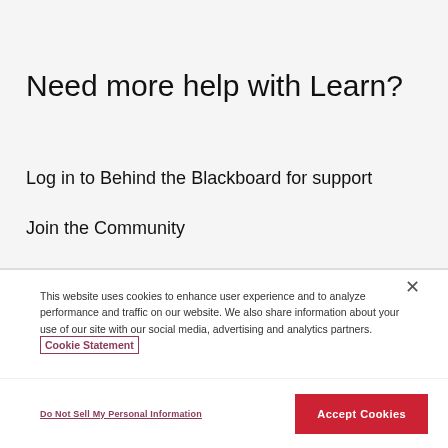Need more help with Learn?
Log in to Behind the Blackboard for support
Join the Community
This website uses cookies to enhance user experience and to analyze performance and traffic on our website. We also share information about your use of our site with our social media, advertising and analytics partners. Cookie Statement
Do Not Sell My Personal Information
Accept Cookies